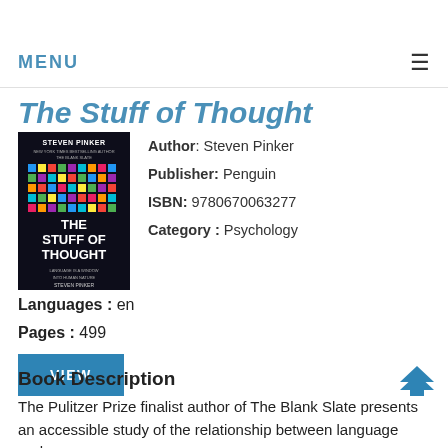MENU
The Stuff of Thought
[Figure (illustration): Book cover of 'The Stuff of Thought' by Steven Pinker, dark background with colorful pixel/block art, published by Penguin]
Author: Steven Pinker
Publisher: Penguin
ISBN: 9780670063277
Category: Psychology
Languages : en
Pages : 499
VIEW
Book Description
The Pulitzer Prize finalist author of The Blank Slate presents an accessible study of the relationship between language and...